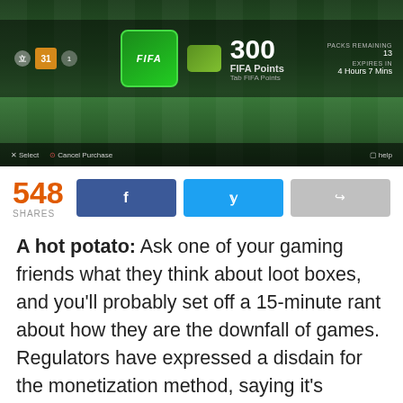[Figure (screenshot): FIFA video game screenshot showing a FIFA Points purchase screen with '300 FIFA Points' displayed, green soccer field background, game UI elements including Select/Cancel Purchase buttons at bottom and Help button.]
548 SHARES
A hot potato: Ask one of your gaming friends what they think about loot boxes, and you'll probably set off a 15-minute rant about how they are the downfall of games. Regulators have expressed a disdain for the monetization method, saying it's predatory against children and labeling it 'gambling' in some regions. And yet, despite all that, video game studios make billions of dollars per year using these gacha-like mechanics.